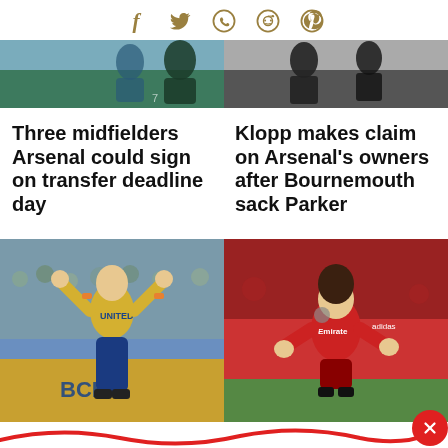[Figure (other): Social media share icons: Facebook, Twitter, WhatsApp, Reddit, Pinterest in gold/dark color]
[Figure (photo): Top left: football/soccer players in green and blue jerseys on a field]
[Figure (photo): Top right: men in dark clothing, appears to be football management staff]
Three midfielders Arsenal could sign on transfer deadline day
Klopp makes claim on Arsenal's owners after Bournemouth sack Parker
[Figure (photo): Bottom left: footballer in yellow jersey with arms raised, Ukraine national team or club shirt, stadium crowd behind]
[Figure (photo): Bottom right: footballer in red Arsenal jersey, Emirate sponsor visible, applauding crowd]